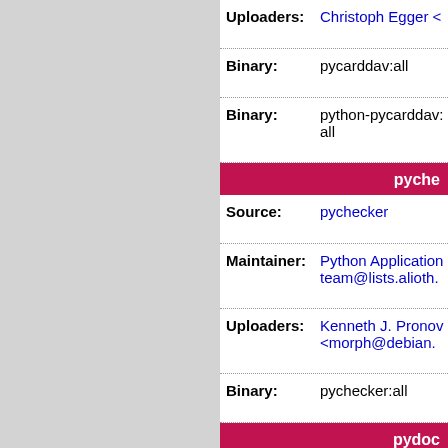| Field | Value |
| --- | --- |
| Uploaders: | Christoph Egger < |
| Binary: | pycarddav:all |
| Binary: | python-pycarddav:all |
pyche
| Field | Value |
| --- | --- |
| Source: | pychecker |
| Maintainer: | Python Application team@lists.alioth. |
| Uploaders: | Kenneth J. Pronov <morph@debian. |
| Binary: | pychecker:all |
pydocs
| Field | Value |
| --- | --- |
| Source: | pydocstyle |
| Maintainer: | Python Application team@lists.alioth. |
| Uploaders: | ChangZhuo Chen |